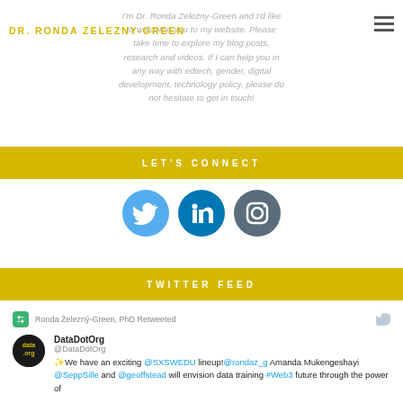DR. RONDA ZELEZNY-GREEN
I'm Dr. Ronda Zelezny-Green and I'd like to welcome you to my website. Please take time to explore my blog posts, research and videos. If I can help you in any way with edtech, gender, digital development, technology policy, please do not hesitate to get in touch!
LET'S CONNECT
[Figure (illustration): Three social media icons: Twitter (light blue circle with bird), LinkedIn (dark blue circle with 'in'), Instagram (grey circle with camera icon)]
TWITTER FEED
Ronda Żelezný-Green, PhD Retweeted
DataDotOrg @DataDotOrg ✨We have an exciting @SXSWEDU lineup!@rondaz_g Amanda Mukengeshayi @SeppSille and @geoffstead will envision data training #Web3 future through the power of